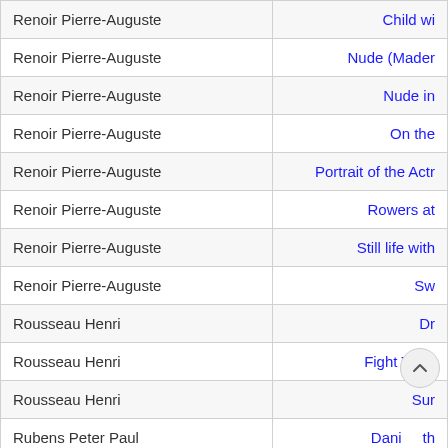| Artist | Artwork |
| --- | --- |
| Renoir Pierre-Auguste | Child wi… |
| Renoir Pierre-Auguste | Nude (Maden… |
| Renoir Pierre-Auguste | Nude in… |
| Renoir Pierre-Auguste | On the… |
| Renoir Pierre-Auguste | Portrait of the Actr… |
| Renoir Pierre-Auguste | Rowers at… |
| Renoir Pierre-Auguste | Still life with… |
| Renoir Pierre-Auguste | Sw… |
| Rousseau Henri | Dr… |
| Rousseau Henri | Fight Tiger… |
| Rousseau Henri | Surp… |
| Rubens Peter Paul | Dani… th… |
| Rubens Peter Paul | The Union of E… |
| Rubens Peter Paul | Three… |